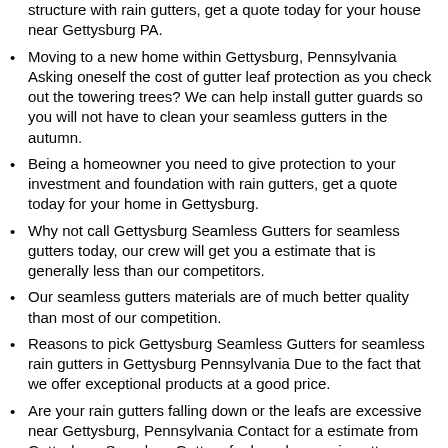structure with rain gutters, get a quote today for your house near Gettysburg PA.
Moving to a new home within Gettysburg, Pennsylvania Asking oneself the cost of gutter leaf protection as you check out the towering trees? We can help install gutter guards so you will not have to clean your seamless gutters in the autumn.
Being a homeowner you need to give protection to your investment and foundation with rain gutters, get a quote today for your home in Gettysburg.
Why not call Gettysburg Seamless Gutters for seamless gutters today, our crew will get you a estimate that is generally less than our competitors.
Our seamless gutters materials are of much better quality than most of our competition.
Reasons to pick Gettysburg Seamless Gutters for seamless rain gutters in Gettysburg Pennsylvania Due to the fact that we offer exceptional products at a good price.
Are your rain gutters falling down or the leafs are excessive near Gettysburg, Pennsylvania Contact for a estimate from Gettysburg Seamless Gutters for brand new rain gutters today!